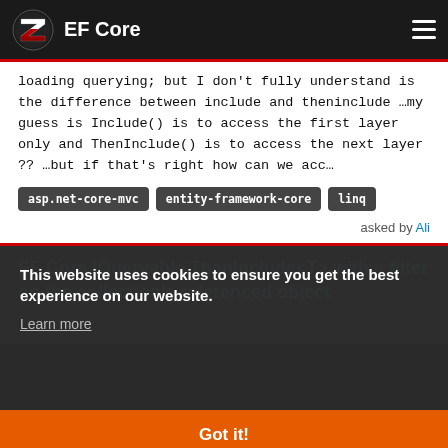EF Core
loading querying; but I don't fully understand is the difference between include and theninclude …my guess is Include() is to access the first layer only and ThenInclude() is to access the next layer ?? …but if that's right how can we acc…
asp.net-core-mvc
entity-framework-core
linq
asked by Ali
EF Core IQueryable.ThenInclude <T> with a filter on the collection's referenced object
This website uses cookies to ensure you get the best experience on our website. Learn more
Got it!
collection is filtered by properties of the